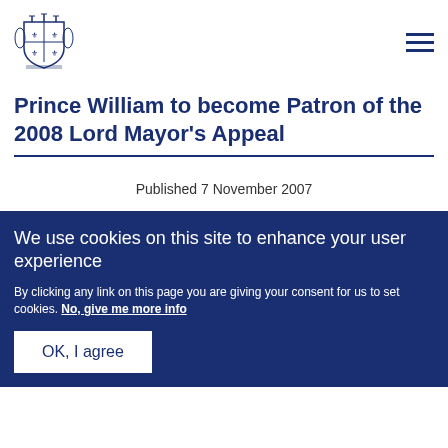[Figure (logo): UK Royal coat of arms logo in dark blue]
Prince William to become Patron of the 2008 Lord Mayor's Appeal
Published 7 November 2007
We use cookies on this site to enhance your user experience
By clicking any link on this page you are giving your consent for us to set cookies. No, give me more info
OK, I agree